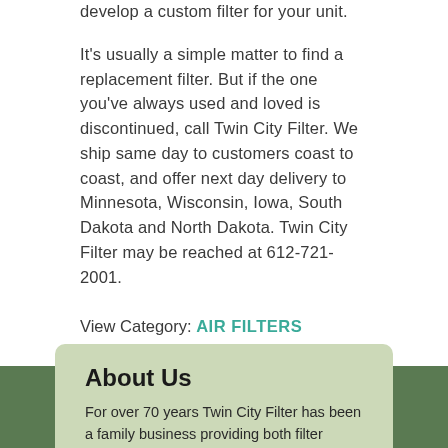develop a custom filter for your unit.
It's usually a simple matter to find a replacement filter. But if the one you've always used and loved is discontinued, call Twin City Filter. We ship same day to customers coast to coast, and offer next day delivery to Minnesota, Wisconsin, Iowa, South Dakota and North Dakota. Twin City Filter may be reached at 612-721-2001.
View Category: AIR FILTERS
About Us
For over 70 years Twin City Filter has been a family business providing both filter service